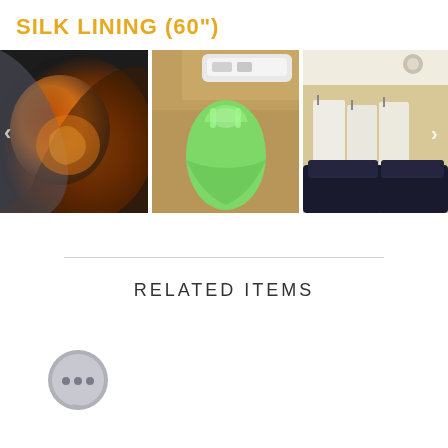SILK LINING (60")
[Figure (photo): Three product photos shown side by side: left shows orange/dark silk fabric, center shows green child's dress on a table with a tool, right shows white garments hanging in a room with dark sofas.]
RELATED ITEMS
[Figure (illustration): Chat bubble icon (gray circle with three dots)]